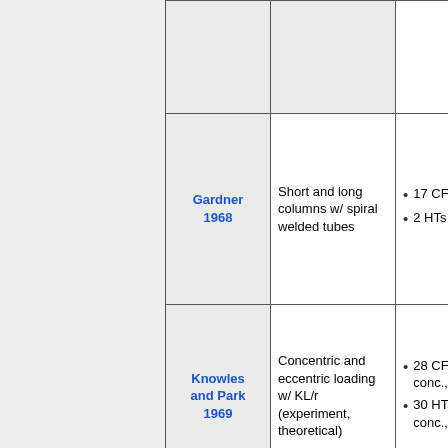| Author | Description | Specimens | Notes |
| --- | --- | --- | --- |
|  |  |  |  |
| Gardner 1968 | Short and long columns w/ spiral welded tubes | 17 CFTs
2 HTs | Co
loa |
| Knowles and Park 1969 | Concentric and eccentric loading w/ KL/r (experiment, theoretical) | 28 CFTs (18 conc., 10 ecc.)
30 HTs (20 conc., 10 ecc.) |  |